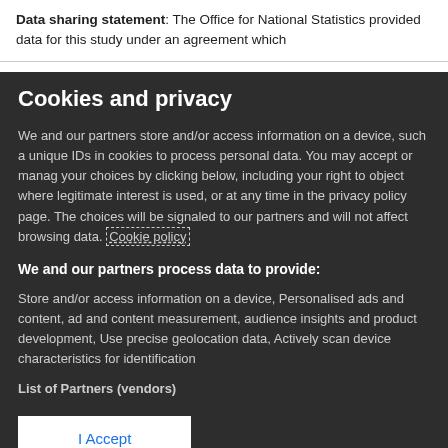Data sharing statement: The Office for National Statistics provided data for this study under an agreement which
Cookies and privacy
We and our partners store and/or access information on a device, such as unique IDs in cookies to process personal data. You may accept or manage your choices by clicking below, including your right to object where legitimate interest is used, or at any time in the privacy policy page. These choices will be signaled to our partners and will not affect browsing data. Cookie policy
We and our partners process data to provide:
Store and/or access information on a device, Personalised ads and content, ad and content measurement, audience insights and product development, Use precise geolocation data, Actively scan device characteristics for identification
List of Partners (vendors)
I Accept